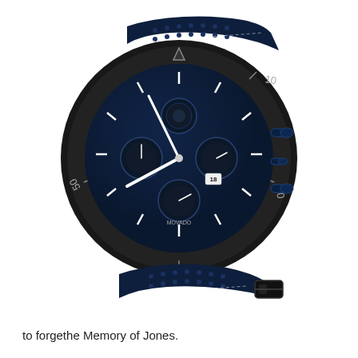[Figure (photo): A navy blue chronograph watch with a black bezel, blue dial with multiple sub-dials, white index markers, date window showing 18, and a perforated navy blue leather strap with white stitching. The watch is shown at an angle against a white background.]
to forgethe Memory of Jones.